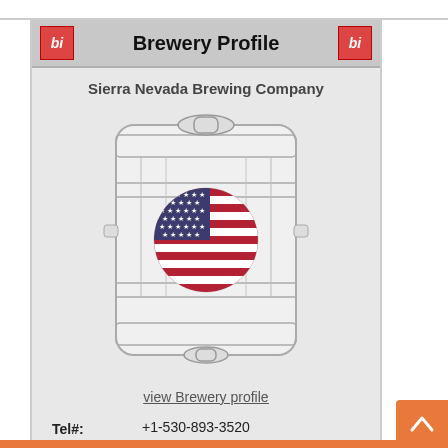Brewery Profile
Sierra Nevada Brewing Company
[Figure (illustration): A keg/barrel illustration with a circular US flag emblem in the center]
view Brewery profile
Tel#: +1-530-893-3520
Address: 1075 E 20th St, Chico, California 95928, United States
Social